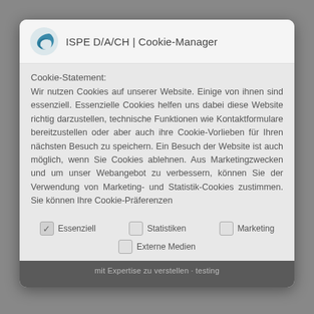ISPE D/A/CH | Cookie-Manager
Cookie-Statement:
Wir nutzen Cookies auf unserer Website. Einige von ihnen sind essenziell. Essenzielle Cookies helfen uns dabei diese Website richtig darzustellen, technische Funktionen wie Kontaktformulare bereitzustellen oder aber auch ihre Cookie-Vorlieben für Ihren nächsten Besuch zu speichern. Ein Besuch der Website ist auch möglich, wenn Sie Cookies ablehnen. Aus Marketingzwecken und um unser Webangebot zu verbessern, können Sie der Verwendung von Marketing- und Statistik-Cookies zustimmen. Sie können Ihre Cookie-Präferenzen
Essenziell (checked)
Statistiken
Marketing
Externe Medien